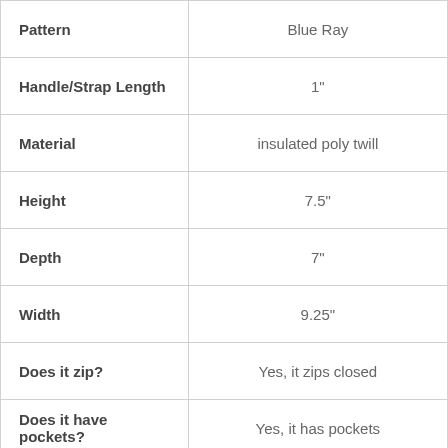| Property | Value |
| --- | --- |
| Pattern | Blue Ray |
| Handle/Strap Length | 1" |
| Material | insulated poly twill |
| Height | 7.5" |
| Depth | 7" |
| Width | 9.25" |
| Does it zip? | Yes, it zips closed |
| Does it have pockets? | Yes, it has pockets |